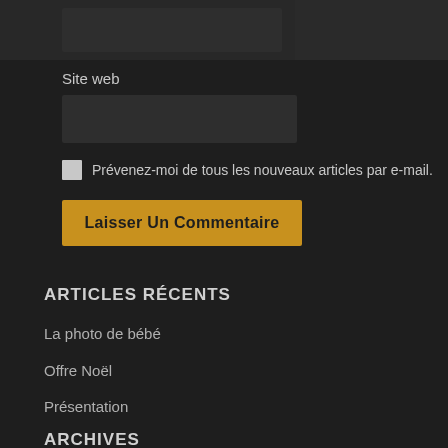Site web
Prévenez-moi de tous les nouveaux articles par e-mail.
Laisser Un Commentaire
ARTICLES RÉCENTS
La photo de bébé
Offre Noël
Présentation
ARCHIVES